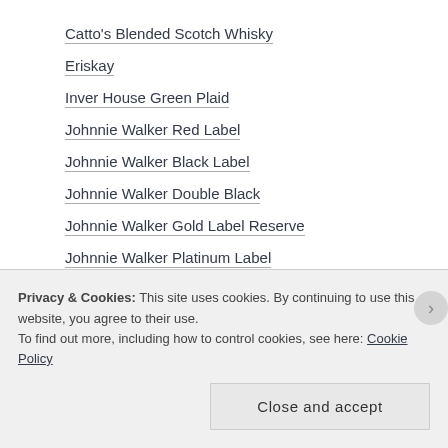Catto's Blended Scotch Whisky
Eriskay
Inver House Green Plaid
Johnnie Walker Red Label
Johnnie Walker Black Label
Johnnie Walker Double Black
Johnnie Walker Gold Label Reserve
Johnnie Walker Platinum Label
Johnnie Walker Blue Label
Johnnie Walker Green Label (partial, clipped)
Privacy & Cookies: This site uses cookies. By continuing to use this website, you agree to their use. To find out more, including how to control cookies, see here: Cookie Policy
Close and accept